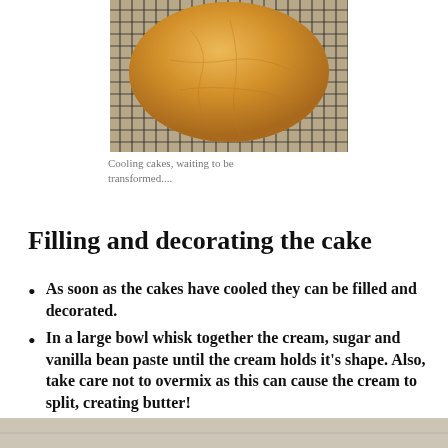[Figure (photo): A round golden cake cooling on a wire rack, viewed from above on a light surface.]
Cooling cakes, waiting to be transformed....
Filling and decorating the cake
As soon as the cakes have cooled they can be filled and decorated.
In a large bowl whisk together the cream, sugar and vanilla bean paste until the cream holds it's shape. Also, take care not to overmix as this can cause the cream to split, creating butter!
[Figure (photo): Partial view of another cake or food preparation step at the bottom of the page.]